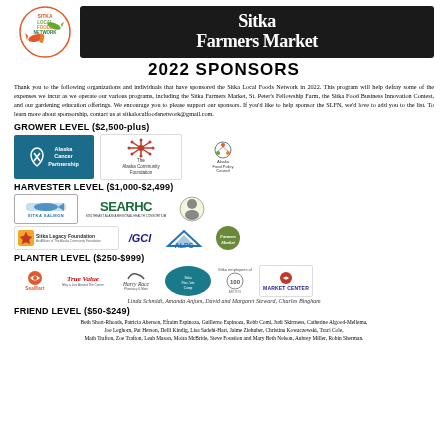[Figure (logo): Sitka Local Foods Network logo (left) and Sitka Farmers Market banner (right)]
2022 SPONSORS
Thank you to the following organizations and individuals that have sponsored the Sitka Local Foods Network in 2022. This program will help defray some of the expenses we incur as we operate our various programs, including the Sitka Farmers Market, St. Peter's Fellowship Farm, the Sitka Food Business Innovation Contest, and our gardening education offerings. We encourage you to please support our sponsors. If you'd like to help sponsor the SLFN, we'd love to add you to the list. To learn more about sponsorship, contact us at sitkalocalfoodsnetwork@gmail.com.
GROWER LEVEL ($2,500-plus)
[Figure (logo): Alaska Cancer Partnership logo, The Alaska Community Foundation logo, Alaska Food Policy Council logo]
HARVESTER LEVEL ($1,000-$2,499)
[Figure (logo): Sitka Salmon Shares logo, SEARHC logo, Fairly Traded Inn logo, Sitka Legacy Foundation logo, GCI logo, ALPS logo, Farmers Market logo]
PLANTER LEVEL ($250-$999)
[Figure (logo): SeaMart logo, True Value logo, Harry Race Pharmacy logo, Sitka Fine Arts Camp logo, Sitka employees of 100 Artists logo, Market Center logo]
Linda Schmidt, Amanda Anjum, David and Margaret Steward, Charles Bingham
FRIEND LEVEL ($50-$249)
Beth Short-Rhoads, Patricia Aberson, Efraim Espinoza, Guillerno Espinoza, Robb Comi, Judi Skirrness, Catherine Algood-Mellema, Joe Leghorn, Pat Herson, Delli Kindig, Lisa Sadehi-Hart, Jaime Ziehuber, Christina Kowaczewski, Traci Cole, Math Trafton, Zoe Trafton, Leah Mason, Moira McBride, Steve Foustion and Mary Beth Nelson, Aubrey Miller, Robin Sherman.